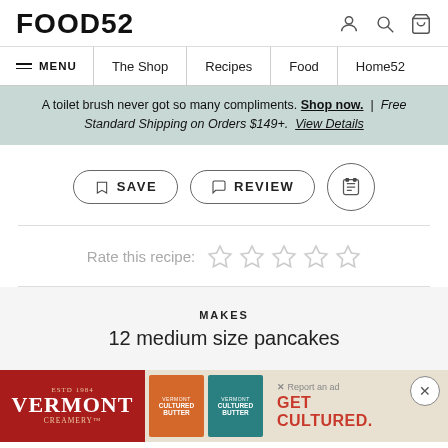FOOD52
MENU | The Shop | Recipes | Food | Home52
A toilet brush never got so many compliments. Shop now. | Free Standard Shipping on Orders $149+. View Details
SAVE | REVIEW | Print
Rate this recipe:
MAKES
12 medium size pancakes
[Figure (screenshot): Vermont Creamery advertisement showing red branded box and butter product images with GET CULTURED tagline]